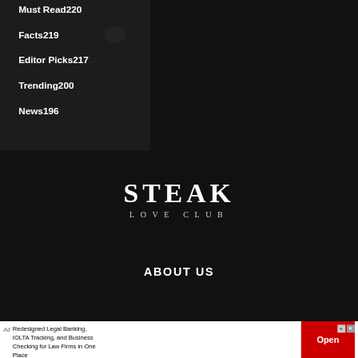Must Read220
Facts219
Editor Picks217
Trending200
News196
STEAK
LOVE CLUB
ABOUT US
[Figure (infographic): Advertisement banner at bottom: Redesigned Legal Banking, IOLTA Tracking, and Business Checking for Law Firms in One Place. Red Open button on right side. Ad label on left.]